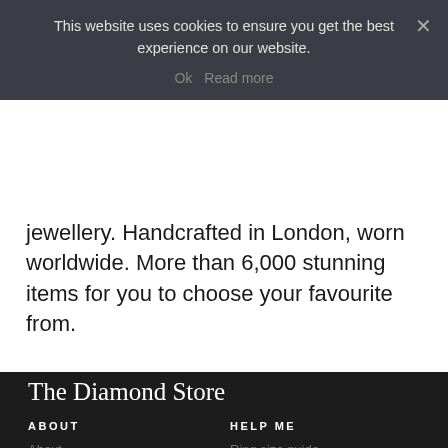This website uses cookies to ensure you get the best experience on our website.
Ok   Read more
jewellery. Handcrafted in London, worn worldwide. More than 6,000 stunning items for you to choose your favourite from.
The Diamond Store
ABOUT
HELP ME
About
Ring size guide
Privacy
Learning centre